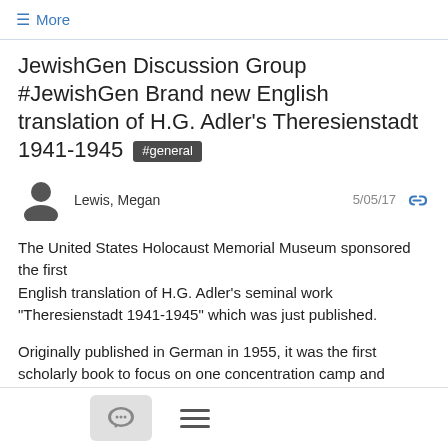≡ More
JewishGen Discussion Group #JewishGen Brand new English translation of H.G. Adler's Theresienstadt 1941-1945 #general
Lewis, Megan  5/05/17
The United States Holocaust Memorial Museum sponsored the first
English translation of H.G. Adler's seminal work "Theresienstadt 1941-1945" which was just published.
Originally published in German in 1955, it was the first scholarly book to focus on one concentration camp and remains the most detailed
account of Theresienstadt. Adler was a survivor of Theresienstadt and